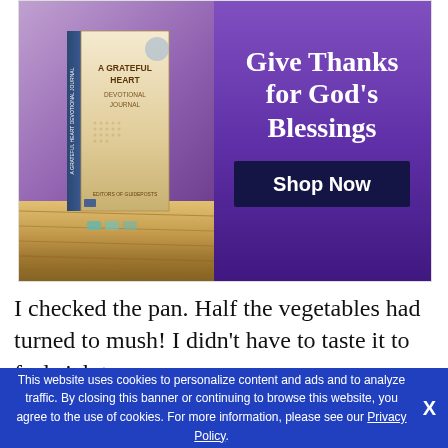[Figure (illustration): Advertisement banner for 'A Grateful Heart Devotional Journal' showing a book on a wooden surface with a purple background. Text reads 'Give Thanks for God's Blessings' with a 'Shop Now' button.]
I checked the pan. Half the vegetables had turned to mush! I didn't have to taste it to feel sick to my
This website uses cookies to personalize content and ads and to analyze traffic. By closing this banner or continuing to browse this website, you agree to the use of cookies. For more information, please see our Privacy Policy.